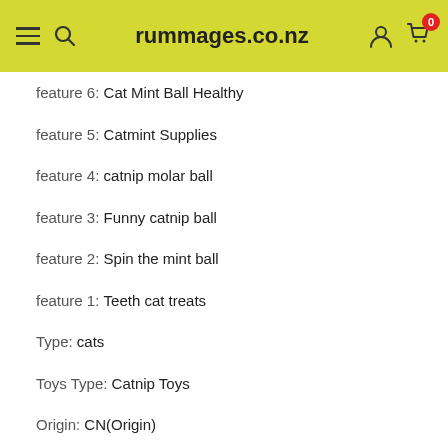rummages.co.nz
feature 6: Cat Mint Ball Healthy
feature 5: Catmint Supplies
feature 4: catnip molar ball
feature 3: Funny catnip ball
feature 2: Spin the mint ball
feature 1: Teeth cat treats
Type: cats
Toys Type: Catnip Toys
Origin: CN(Origin)
Material: Plastic